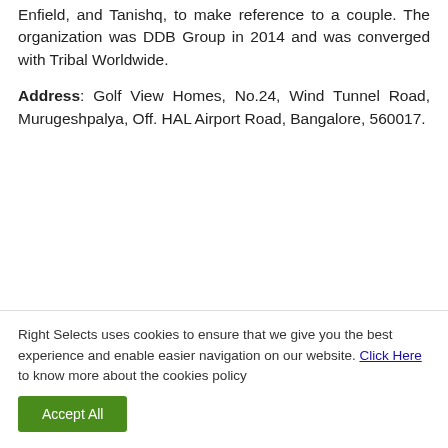Enfield, and Tanishq, to make reference to a couple. The organization was DDB Group in 2014 and was converged with Tribal Worldwide.
Address: Golf View Homes, No.24, Wind Tunnel Road, Murugeshpalya, Off. HAL Airport Road, Bangalore, 560017.
Official  Website
Right Selects uses cookies to ensure that we give you the best experience and enable easier navigation on our website. Click Here to know more about the cookies policy
Accept All